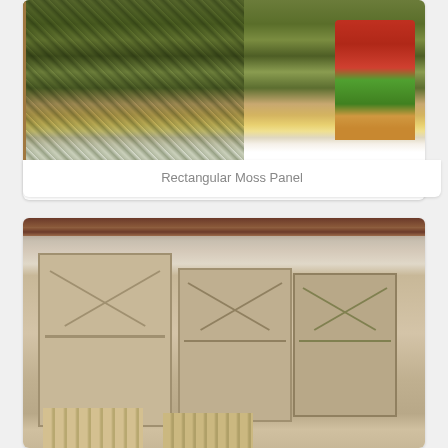[Figure (photo): A rectangular moss panel mounted on a wall next to a potted plant with red flowers in a yellow/wooden square pot, displayed on a white surface.]
Rectangular Moss Panel
[Figure (photo): Several wooden panel frames with house-shaped cutout designs leaning against a wall in what appears to be a workshop or storage area, along with small wooden chairs or stools.]